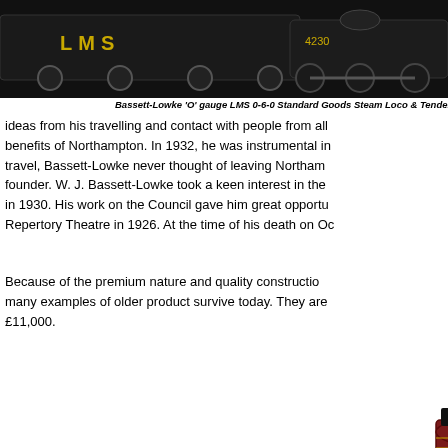[Figure (photo): Bassett-Lowke 'O' gauge LMS 0-6-0 Standard Goods Steam Loco & Tender on dark background]
Bassett-Lowke 'O' gauge LMS 0-6-0 Standard Goods Steam Loco & Tender
ideas from his travelling and contact with people from all... benefits of Northampton. In 1932, he was instrumental in... travel, Bassett-Lowke never thought of leaving Northam... founder. W. J. Bassett-Lowke took a keen interest in the... in 1930. His work on the Council gave him great opportu... Repertory Theatre in 1926. At the time of his death on Oc...
Because of the premium nature and quality construction... many examples of older product survive today. They are... £11,000.
[Figure (photo): Bassett-Lowke Enterprise steam locomotive in green livery]
Bassett-Lowke Enterprise steam in '...
[Figure (photo): Bassett-Lowke steam locomotive in red/maroon livery, partially visible at bottom of page]